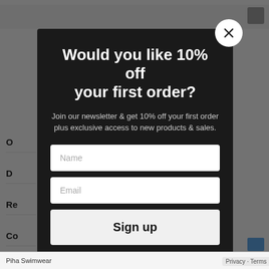[Figure (screenshot): Website background partially visible behind modal overlay, showing partial navigation links and footer with 'Piha Swimwear' text.]
Would you like 10% off your first order?
Join our newsletter & get 10% off your first order plus exclusive access to new products & sales.
Name
Email
Sign up
Piha Swimwear | Privacy · Terms